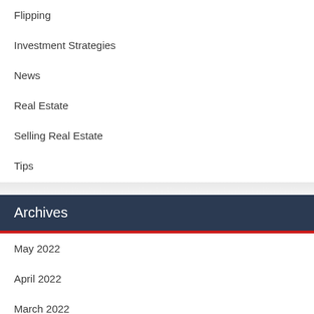Flipping
Investment Strategies
News
Real Estate
Selling Real Estate
Tips
Archives
May 2022
April 2022
March 2022
February 2022